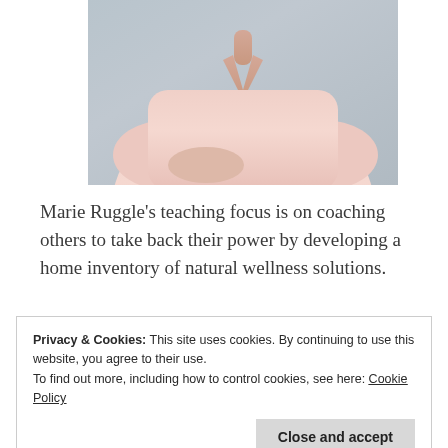[Figure (photo): Photo of Marie Ruggle, a woman wearing a light pink blouse, photo cropped at torso/shoulder level against a gray background]
Marie Ruggle's teaching focus is on coaching others to take back their power by developing a home inventory of natural wellness solutions.
Privacy & Cookies: This site uses cookies. By continuing to use this website, you agree to their use.
To find out more, including how to control cookies, see here: Cookie Policy
Public Health. She has a master's degree from